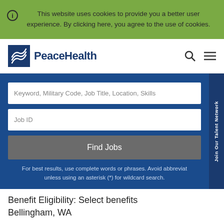This website uses cookies to provide you a better user experience. By clicking here, you agree to the use of cookies.
[Figure (logo): PeaceHealth logo with wave symbol in blue square]
Keyword, Military Code, Job Title, Location, Skills
Job ID
Find Jobs
For best results, use complete words or phrases. Avoid abbreviat unless using an asterisk (*) for wildcard search.
Join Our Talent Network
Benefit Eligibility: Select benefits
Bellingham, WA